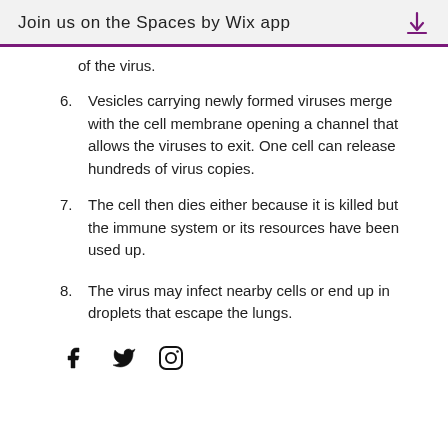Join us on the Spaces by Wix app
of the virus.
6. Vesicles carrying newly formed viruses merge with the cell membrane opening a channel that allows the viruses to exit. One cell can release hundreds of virus copies.
7. The cell then dies either because it is killed but the immune system or its resources have been used up.
8. The virus may infect nearby cells or end up in droplets that escape the lungs.
[Figure (infographic): Social media icons: Facebook (f), Twitter (bird), Instagram (camera)]